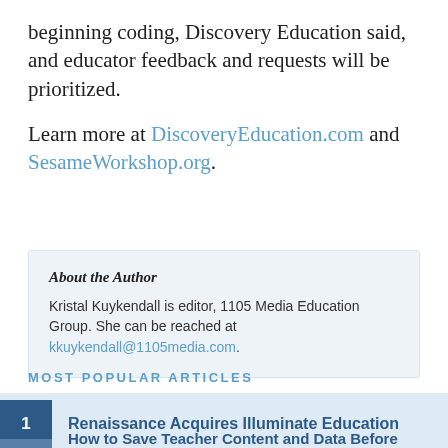beginning coding, Discovery Education said, and educator feedback and requests will be prioritized.
Learn more at DiscoveryEducation.com and SesameWorkshop.org.
About the Author
Kristal Kuykendall is editor, 1105 Media Education Group. She can be reached at kkuykendall@1105media.com.
MOST POPULAR ARTICLES
1 Renaissance Acquires Illuminate Education
How to Save Teacher Content and Data Before Edmodo